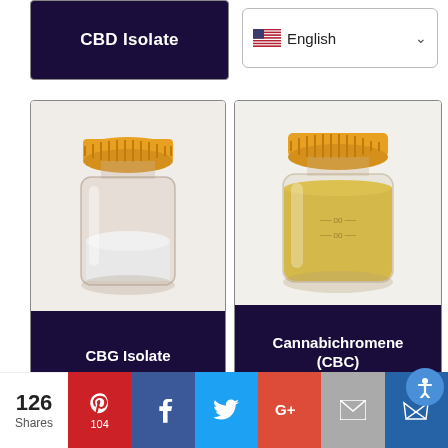[Figure (screenshot): Partial product card header for CBD Isolate with dark purple background and white bold text]
[Figure (screenshot): Language selector dropdown showing English with US flag and chevron]
[Figure (photo): Glass jar with orange/yellow lid containing white powder labeled CBG Isolate on dark purple background]
[Figure (photo): Glass jar with orange/yellow lid containing yellow liquid labeled Cannabichromene (CBC) on dark purple background]
[Figure (infographic): Social share bar showing 126 total shares with Pinterest (104), Facebook, Twitter, Google+, Email, and Monarch buttons]